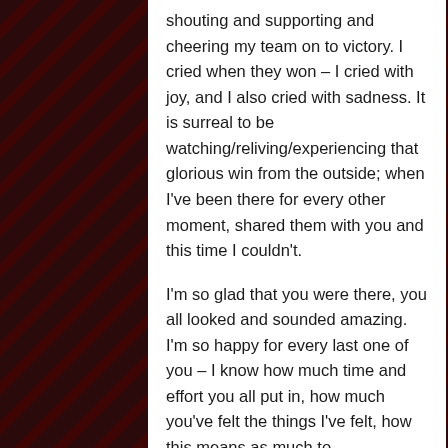shouting and supporting and cheering my team on to victory.  I cried when they won – I cried with joy, and I also cried with sadness.  It is surreal to be watching/reliving/experiencing that glorious win from the outside; when I've been there for every other moment, shared them with you and this time I couldn't.

I'm so glad that you were there, you all looked and sounded amazing.  I'm so happy for every last one of you – I know how much time and effort you all put in, how much you've felt the things I've felt, how this means as much to